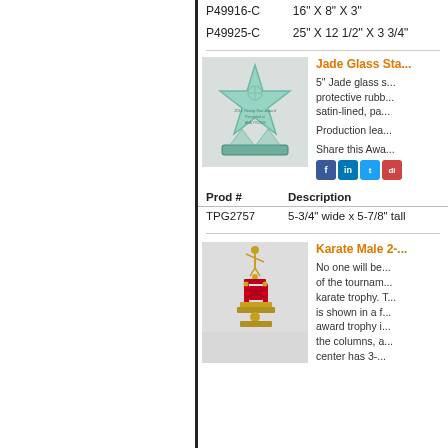| Prod # | Description |
| --- | --- |
| P49916-C | 16" X 8" X 3" |
| P49925-C | 25" X 12 1/2" X 3 3/4" |
[Figure (photo): Jade Glass Star award on a black base, engraved with text reading '2011 Rising Star Award, Presented to ANA YOUNG']
Jade Glass Sta...
5" Jade glass s... protective rubb... satin-lined, pa...
Production lea...
Share this Awa...
| Prod # | Description |
| --- | --- |
| TPG2757 | 5-3/4" wide x 5-7/8" tall |
[Figure (photo): Karate Male 2-tone trophy with karate figure on top, red columns, gold trim]
Karate Male 2-...
No one will be... of the tournam... karate trophy. T... is shown in a f... award trophy i... the columns, a... center has 3-...